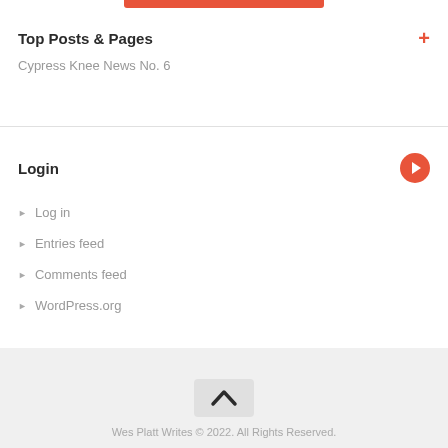Top Posts & Pages
Cypress Knee News No. 6
Login
Log in
Entries feed
Comments feed
WordPress.org
Wes Platt Writes © 2022. All Rights Reserved.